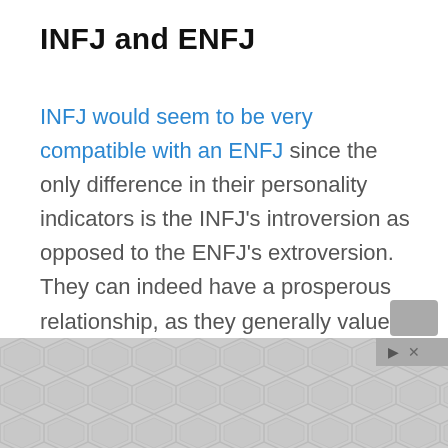INFJ and ENFJ
INFJ would seem to be very compatible with an ENFJ since the only difference in their personality indicators is the INFJ’s introversion as opposed to the ENFJ’s extroversion. They can indeed have a prosperous relationship, as they generally value the same things, but it may take more work than